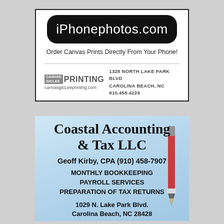[Figure (illustration): Advertisement for iPhonephotos.com - Canvas Giclee Printing. Black pill-shaped logo with white text 'iPhonephotos.com', tagline 'Order Canvas Prints Directly From Your Phone!', Canvas Giclee Printing logo with address 1328 North Lake Park Blvd, Carolina Beach, NC 910.458.4229, website canvasgicleePrinting.com]
[Figure (illustration): Advertisement for Coastal Accounting & Tax LLC. Business name, Geoff Kirby CPA (910) 458-7907, services: Monthly Bookkeeping, Payroll Services, Preparation of Tax Returns, address 1029 N. Lake Park Blvd. Carolina Beach NC (partially visible). Background shows calculator and red pen on light blue.]